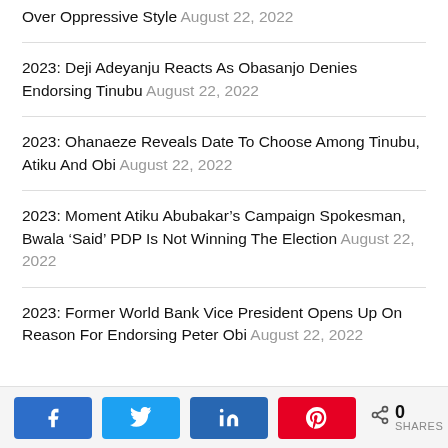Over Oppressive Style August 22, 2022
2023: Deji Adeyanju Reacts As Obasanjo Denies Endorsing Tinubu August 22, 2022
2023: Ohanaeze Reveals Date To Choose Among Tinubu, Atiku And Obi August 22, 2022
2023: Moment Atiku Abubakar’s Campaign Spokesman, Bwala ‘Said’ PDP Is Not Winning The Election August 22, 2022
2023: Former World Bank Vice President Opens Up On Reason For Endorsing Peter Obi August 22, 2022
[Figure (infographic): Social share bar with Facebook, Twitter, LinkedIn, Pinterest buttons and a share count of 0 SHARES]